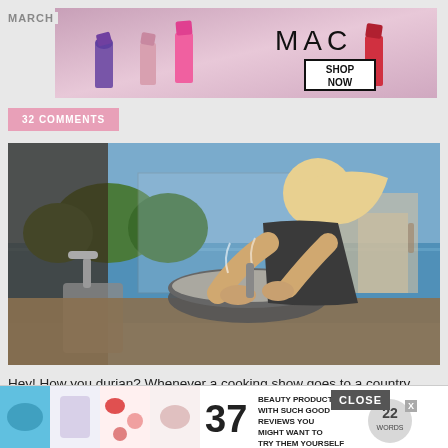[Figure (photo): MAC cosmetics advertisement banner with lipsticks and SHOP NOW button]
MARCH
32 COMMENTS
[Figure (photo): Blonde woman cooking in a bowl outdoors near a pool]
Hey! How you durian? Whenever a cooking show goes to a country where durian is grown, we generally get an entire episode about it. Top Chef Kentucky is no different. Tonight's quickfi... hting the wo... like Chi...
[Figure (photo): Bottom advertisement: 37 Beauty Products With Such Good Reviews You Might Want To Try Them Yourself, with CLOSE button and 22 Words badge]